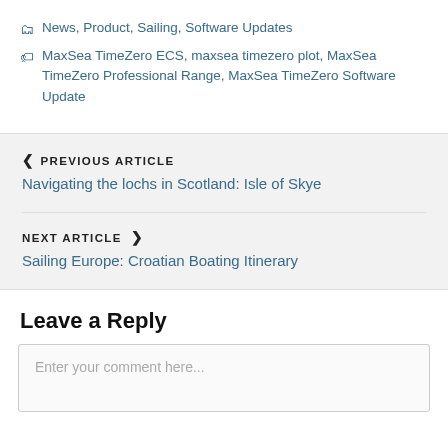News, Product, Sailing, Software Updates
MaxSea TimeZero ECS, maxsea timezero plot, MaxSea TimeZero Professional Range, MaxSea TimeZero Software Update
PREVIOUS ARTICLE — Navigating the lochs in Scotland: Isle of Skye
NEXT ARTICLE — Sailing Europe: Croatian Boating Itinerary
Leave a Reply
Enter your comment here...